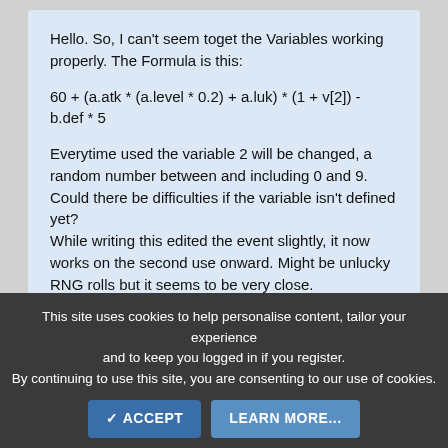Hello. So, I can't seem toget the Variables working properly. The Formula is this:
Everytime used the variable 2 will be changed, a random number between and including 0 and 9. Could there be difficulties if the variable isn't defined yet?
While writing this edited the event slightly, it now works on the second use onward. Might be unlucky RNG rolls but it seems to be very close.
A normal Attack without the multiplication of 1 + v[2] deals around 50 damage and all rolls i got so far was
This site uses cookies to help personalise content, tailor your experience and to keep you logged in if you register.
By continuing to use this site, you are consenting to our use of cookies.
✓ ACCEPT    LEARN MORE...